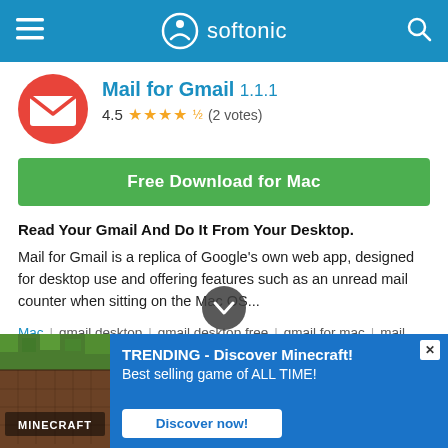softonic
Mail for Gmail 1.1.1
4.5 ★★★★½ (2 votes)
Free Download for Mac
Read Your Gmail And Do It From Your Desktop.
Mail for Gmail is a replica of Google's own web app, designed for desktop use and offering features such as an unread mail counter when sitting on the Mac OS...
Mac | gmail desktop | gmail desktop free | gmail for mac | mail
Mozilla Thunderbird 102.1.2
[Figure (screenshot): Minecraft advertisement banner with Minecraft logo image on the left, blue background on right with text 'TRENDING - Discover Minecraft! Best selling game of ALL TIME!' and a 'Discover now!' button.]